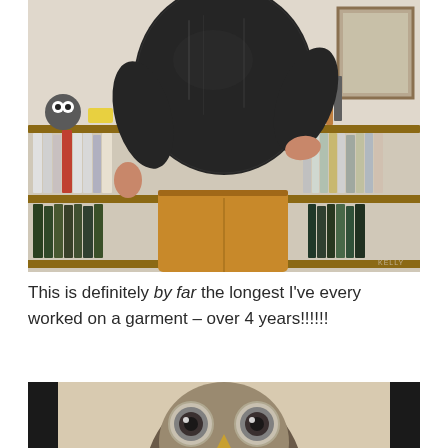[Figure (photo): Person wearing a dark speckled/textured sweater and mustard/golden yellow trousers, standing in front of bookshelves filled with books and various objects. The person's face is not visible (cropped at top). Photo taken indoors.]
This is definitely by far the longest I've every worked on a garment – over 4 years!!!!!!
[Figure (photo): Partial view of what appears to be a large owl illustration or stuffed toy, showing the face/eyes of an owl, cropped at the bottom of the page.]